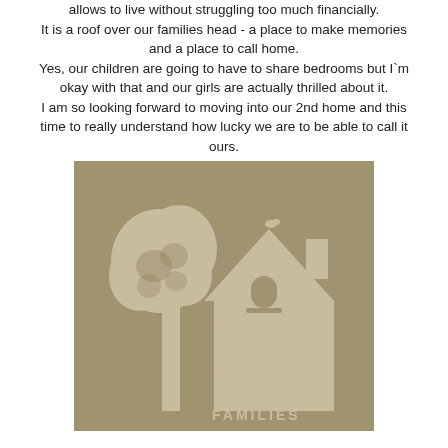allows to live without struggling too much financially. It is a roof over our families head - a place to make memories and a place to call home. Yes, our children are going to have to share bedrooms but I`m okay with that and our girls are actually thrilled about it. I am so looking forward to moving into our 2nd home and this time to really understand how lucky we are to be able to call it ours.
[Figure (logo): Small Homes Grow Tight Families logo: tan/khaki background with cream silhouette of a house with a bird on top and a tree to the left, text reading SMALL HOMES GROW TIGHT FAMILIES in spaced capital letters]